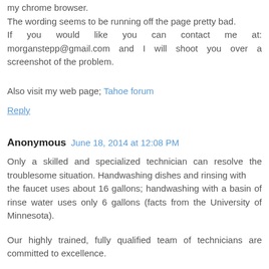Your blog seems to be having some compatibility issues in my chrome browser. The wording seems to be running off the page pretty bad. If you would like you can contact me at: morganstepp@gmail.com and I will shoot you over a screenshot of the problem.
Also visit my web page; Tahoe forum
Reply
Anonymous June 18, 2014 at 12:08 PM
Only a skilled and specialized technician can resolve the troublesome situation. Handwashing dishes and rinsing with the faucet uses about 16 gallons; handwashing with a basin of rinse water uses only 6 gallons (facts from the University of Minnesota).
Our highly trained, fully qualified team of technicians are committed to excellence.